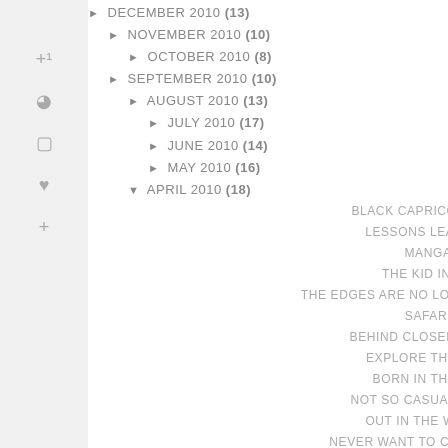► DECEMBER 2010 (13)
► NOVEMBER 2010 (10)
► OCTOBER 2010 (8)
► SEPTEMBER 2010 (10)
► AUGUST 2010 (13)
► JULY 2010 (17)
► JUNE 2010 (14)
► MAY 2010 (16)
▼ APRIL 2010 (18)
BLACK CAPRICORN DAY
LESSONS LEARNED
MANGA
THE KID IN ME
THE EDGES ARE NO LONGER PARALLEL
SAFARI
BEHIND CLOSED DOORS
EXPLORE THE CITY
BORN IN THE 80S
NOT SO CASUAL FRIDAY
OUT IN THE WORLD
NEVER WANT TO COME DOWN, NEVER WANT TO PUT MY FEET...
A FOREST
ESCAPE THE CITY...